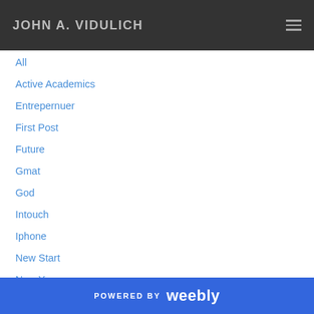JOHN A. VIDULICH
All
Active Academics
Entrepernuer
First Post
Future
Gmat
God
Intouch
Iphone
New Start
New Year
Reasons
Resolution
Updates
RSS Feed
POWERED BY weebly